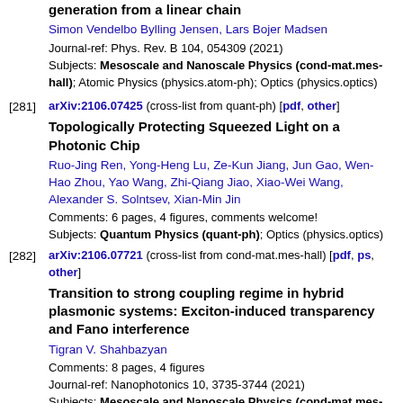generation from a linear chain
Simon Vendelbo Bylling Jensen, Lars Bojer Madsen
Journal-ref: Phys. Rev. B 104, 054309 (2021)
Subjects: Mesoscale and Nanoscale Physics (cond-mat.mes-hall); Atomic Physics (physics.atom-ph); Optics (physics.optics)
[281] arXiv:2106.07425 (cross-list from quant-ph) [pdf, other]
Topologically Protecting Squeezed Light on a Photonic Chip
Ruo-Jing Ren, Yong-Heng Lu, Ze-Kun Jiang, Jun Gao, Wen-Hao Zhou, Yao Wang, Zhi-Qiang Jiao, Xiao-Wei Wang, Alexander S. Solntsev, Xian-Min Jin
Comments: 6 pages, 4 figures, comments welcome!
Subjects: Quantum Physics (quant-ph); Optics (physics.optics)
[282] arXiv:2106.07721 (cross-list from cond-mat.mes-hall) [pdf, ps, other]
Transition to strong coupling regime in hybrid plasmonic systems: Exciton-induced transparency and Fano interference
Tigran V. Shahbazyan
Comments: 8 pages, 4 figures
Journal-ref: Nanophotonics 10, 3735-3744 (2021)
Subjects: Mesoscale and Nanoscale Physics (cond-mat.mes-